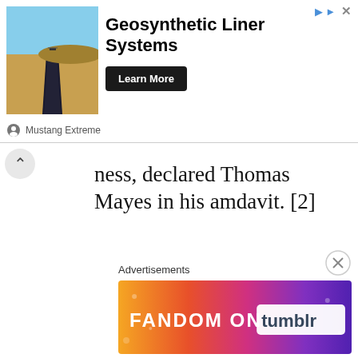[Figure (other): Advertisement banner: Geosynthetic Liner Systems by Mustang Extreme, with photo of liner/road in desert, Learn More button]
ness, declared Thomas Mayes in his amdavit. [2]
[Figure (other): Advertisement banner: Fandom on Tumblr, colorful gradient background with icons]
Advertisements